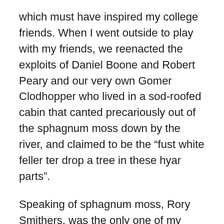which must have inspired my college friends.  When I went outside to play with my friends, we reenacted the exploits of Daniel Boone and Robert Peary and our very own Gomer Clodhopper who lived in a sod-roofed cabin that canted precariously out of the sphagnum moss down by the river, and claimed to be the “fust white feller ter drop a tree in these hyar parts”.
Speaking of sphagnum moss, Rory Smithers, was the only one of my childhood friends who refused to play our “stupid games”.  There was nothing personal about it.  He was one of those reluctant Alaskans who thought that anything originating in Alaska was stupid.  His father, Roland, was a biologist with an energy consulting firm whose company had sent him to Moose Hole to “assess potential aerobic methane oxidation in a boreal Sphagnum-dominated peatland, and establish the viable